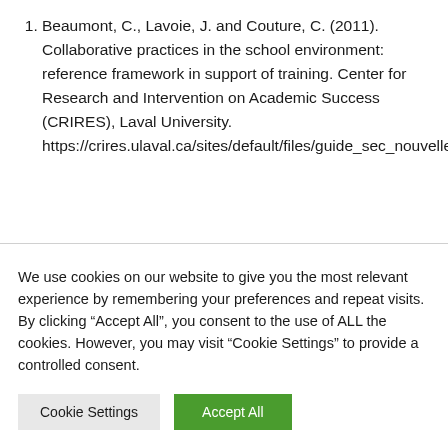Beaumont, C., Lavoie, J. and Couture, C. (2011). Collaborative practices in the school environment: reference framework in support of training. Center for Research and Intervention on Academic Success (CRIRES), Laval University. https://crires.ulaval.ca/sites/default/files/guide_sec_nouvelle_version.pdf
Donohoo, J., Hattie, J. and Eells, R.
We use cookies on our website to give you the most relevant experience by remembering your preferences and repeat visits. By clicking “Accept All”, you consent to the use of ALL the cookies. However, you may visit "Cookie Settings" to provide a controlled consent.